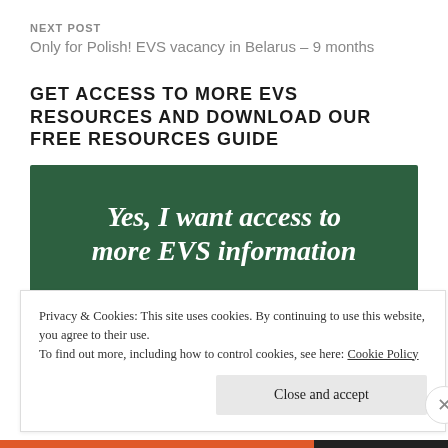NEXT POST
Only for Polish! EVS vacancy in Belarus – 9 months
GET ACCESS TO MORE EVS RESOURCES AND DOWNLOAD OUR FREE RESOURCES GUIDE
[Figure (other): Dark green banner button with italic bold white serif text: 'Yes, I want access to more EVS information']
Privacy & Cookies: This site uses cookies. By continuing to use this website, you agree to their use.
To find out more, including how to control cookies, see here: Cookie Policy
Close and accept